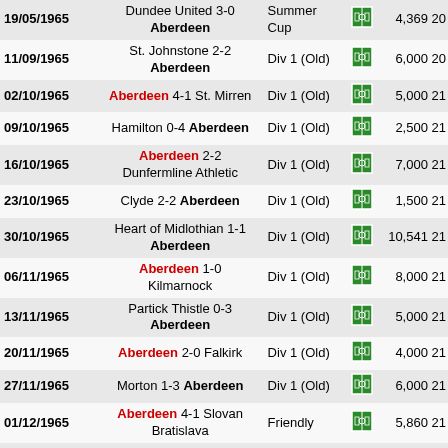| Date | Match | Competition | Icon | Att | # |
| --- | --- | --- | --- | --- | --- |
| 19/05/1965 | Dundee United 3-0 Aberdeen | Summer Cup |  | 4,369 | 20 |
| 11/09/1965 | St. Johnstone 2-2 Aberdeen | Div 1 (Old) |  | 6,000 | 20 |
| 02/10/1965 | Aberdeen 4-1 St. Mirren | Div 1 (Old) |  | 5,000 | 21 |
| 09/10/1965 | Hamilton 0-4 Aberdeen | Div 1 (Old) |  | 2,500 | 21 |
| 16/10/1965 | Aberdeen 2-2 Dunfermline Athletic | Div 1 (Old) |  | 7,000 | 21 |
| 23/10/1965 | Clyde 2-2 Aberdeen | Div 1 (Old) |  | 1,500 | 21 |
| 30/10/1965 | Heart of Midlothian 1-1 Aberdeen | Div 1 (Old) |  | 10,541 | 21 |
| 06/11/1965 | Aberdeen 1-0 Kilmarnock | Div 1 (Old) |  | 8,000 | 21 |
| 13/11/1965 | Partick Thistle 0-3 Aberdeen | Div 1 (Old) |  | 5,000 | 21 |
| 20/11/1965 | Aberdeen 2-0 Falkirk | Div 1 (Old) |  | 4,000 | 21 |
| 27/11/1965 | Morton 1-3 Aberdeen | Div 1 (Old) |  | 6,000 | 21 |
| 01/12/1965 | Aberdeen 4-1 Slovan Bratislava | Friendly |  | 5,860 | 21 |
| 11/12/1965 | Aberdeen 0-0 Dundee United | Div 1 (Old) |  | 10,000 | 21 |
| 18/12/1965 | Motherwell 1-0 Aberdeen | Div 1 (Old) |  | 5,500 | 21 |
| 25/12/1965 | Aberdeen 1-3 Hibernian | Div 1 (Old) |  | 9,000 | 21 |
| 03/01/1966 | Aberdeen 2-3 St. Johnstone | Div 1 (Old) |  | 6,000 | 21 |
|  | Stirling Albion 2-1 |  |  |  |  |